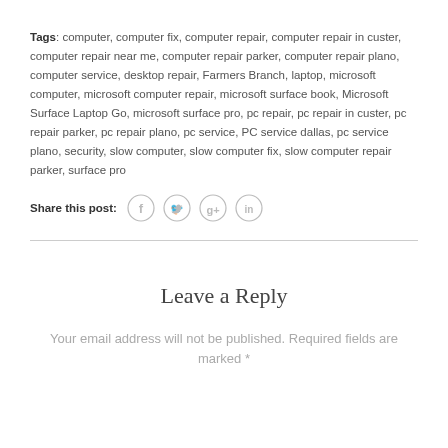Tags: computer, computer fix, computer repair, computer repair in custer, computer repair near me, computer repair parker, computer repair plano, computer service, desktop repair, Farmers Branch, laptop, microsoft computer, microsoft computer repair, microsoft surface book, Microsoft Surface Laptop Go, microsoft surface pro, pc repair, pc repair in custer, pc repair parker, pc repair plano, pc service, PC service dallas, pc service plano, security, slow computer, slow computer fix, slow computer repair parker, surface pro
Share this post:
[Figure (illustration): Four social media share icons: Facebook, Twitter, Google+, LinkedIn — each as a circle outline with the respective icon inside]
Leave a Reply
Your email address will not be published. Required fields are marked *